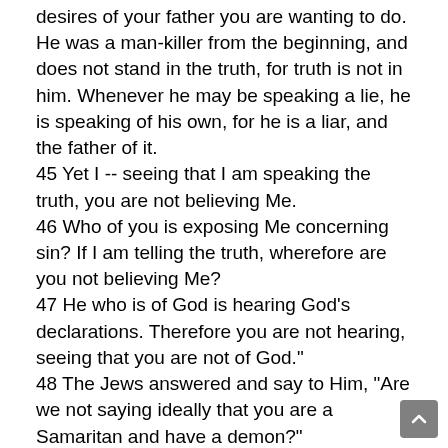desires of your father you are wanting to do. He was a man-killer from the beginning, and does not stand in the truth, for truth is not in him. Whenever he may be speaking a lie, he is speaking of his own, for he is a liar, and the father of it. 45 Yet I -- seeing that I am speaking the truth, you are not believing Me. 46 Who of you is exposing Me concerning sin? If I am telling the truth, wherefore are you not believing Me? 47 He who is of God is hearing God's declarations. Therefore you are not hearing, seeing that you are not of God." 48 The Jews answered and say to Him, "Are we not saying ideally that you are a Samaritan and have a demon?" 49 Jesus answered and said, "I have no demon, but I am honoring My Father, and you are dishonoring Me.